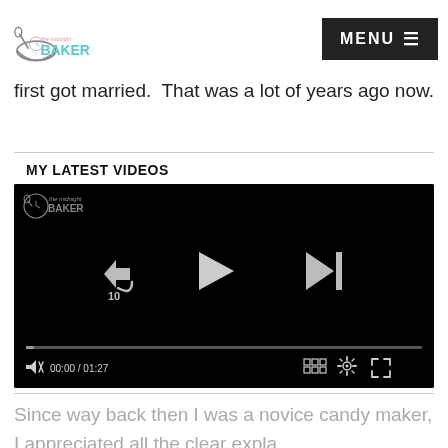The Midnight Baker | MENU
first got married. That was a lot of years ago now.
MY LATEST VIDEOS
[Figure (screenshot): Video player showing midnight baker logo watermark, playback controls (rewind 10s, play, skip), progress bar at 00:00 / 01:27, mute button, grid, settings, and fullscreen icons on black background.]
Since way back then I was a novice candy maker, I appreciated all the clear expla...